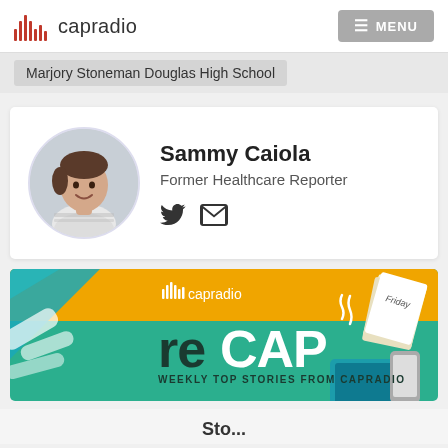capradio  MENU
Marjory Stoneman Douglas High School
[Figure (photo): Profile card for Sammy Caiola, Former Healthcare Reporter, with circular headshot photo and Twitter/email social icons]
Sammy Caiola
Former Healthcare Reporter
[Figure (illustration): CapRadio reCAP banner - colorful illustrated promotional banner with text 'reCAP' and 'WEEKLY TOP STORIES FROM CAPRADIO' on a teal/green and orange background with illustrated books, devices, and papers]
Sto...